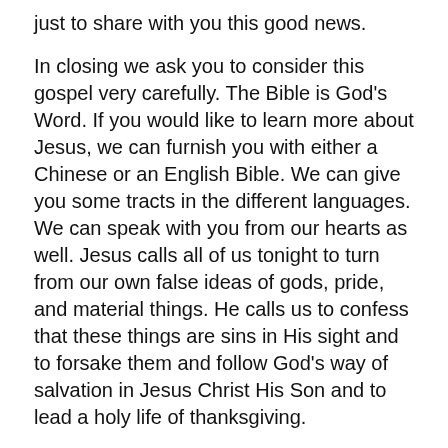just to share with you this good news.
In closing we ask you to consider this gospel very carefully. The Bible is God’s Word. If you would like to learn more about Jesus, we can furnish you with either a Chinese or an English Bible. We can give you some tracts in the different languages. We can speak with you from our hearts as well. Jesus calls all of us tonight to turn from our own false ideas of gods, pride, and material things. He calls us to confess that these things are sins in His sight and to forsake them and follow God’s way of salvation in Jesus Christ His Son and to lead a holy life of thanksgiving.
Closing prayer.
Father, we thank Thee for Jesus. Without Him we are lost in our own superstition, our pride and our love of money. Humble each one of us so that we may come to admit our sinful condition. Help us to know our